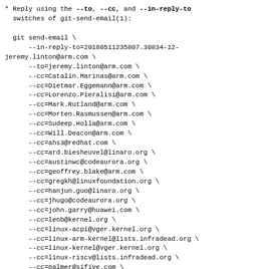* Reply using the --to, --cc, and --in-reply-to switches of git-send-email(1):

  git send-email \
      --in-reply-to=20180511235807.30834-12-jeremy.linton@arm.com \
      --to=jeremy.linton@arm.com \
      --cc=Catalin.Marinas@arm.com \
      --cc=Dietmar.Eggemann@arm.com \
      --cc=Lorenzo.Pieralisi@arm.com \
      --cc=Mark.Rutland@arm.com \
      --cc=Morten.Rasmussen@arm.com \
      --cc=Sudeep.Holla@arm.com \
      --cc=Will.Deacon@arm.com \
      --cc=ahs3@redhat.com \
      --cc=ard.biesheuvel@linaro.org \
      --cc=austinwc@codeaurora.org \
      --cc=geoffrey.blake@arm.com \
      --cc=gregkh@linuxfoundation.org \
      --cc=hanjun.guo@linaro.org \
      --cc=jhugo@codeaurora.org \
      --cc=john.garry@huawei.com \
      --cc=lenb@kernel.org \
      --cc=linux-acpi@vger.kernel.org \
      --cc=linux-arm-kernel@lists.infradead.org \
      --cc=linux-kernel@vger.kernel.org \
      --cc=linux-riscv@lists.infradead.org \
      --cc=palmer@sifive.com \
      --cc=rjw@rjwysocki.net \